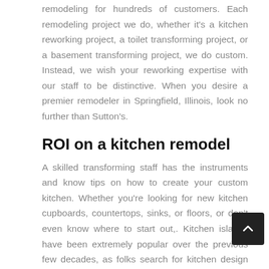remodeling for hundreds of customers. Each remodeling project we do, whether it's a kitchen reworking project, a toilet transforming project, or a basement transforming project, we do custom. Instead, we wish your reworking expertise with our staff to be distinctive. When you desire a premier remodeler in Springfield, Illinois, look no further than Sutton's.
ROI on a kitchen remodel
A skilled transforming staff has the instruments and know tips on how to create your custom kitchen. Whether you're looking for new kitchen cupboards, countertops, sinks, or floors, or don't even know where to start out,. Kitchen islands have been extremely popular over the previous few decades, as folks search for kitchen design solutions which might b...